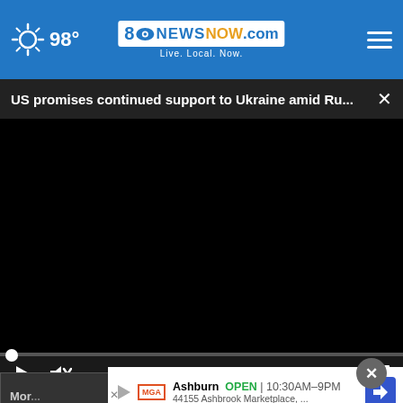98° 8NewsNow.com Live. Local. Now.
US promises continued support to Ukraine amid Ru...
[Figure (screenshot): Black video player area with playback controls: play button, mute button, timestamp 00:00, and fullscreen button. Progress bar at bottom of video.]
Mor...
Ashburn  OPEN  10:30AM–9PM
44155 Ashbrook Marketplace, ...